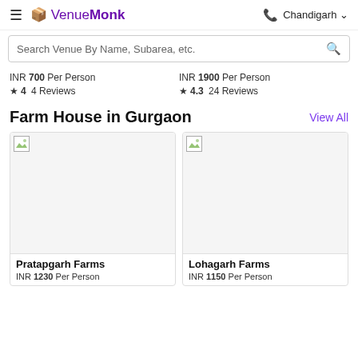VenueMon — Chandigarh
Search Venue By Name, Subarea, etc.
INR 700 Per Person
★ 4  4 Reviews
INR 1900 Per Person
★ 4.3  24 Reviews
Farm House in Gurgaon
View All
[Figure (photo): Broken image placeholder for Pratapgarh Farms]
Pratapgarh Farms
INR 1230 Per Person
[Figure (photo): Broken image placeholder for Lohagarh Farms]
Lohagarh Farms
INR 1150 Per Person